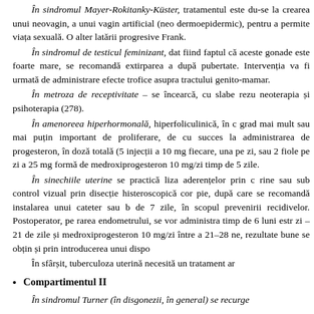În sindromul Mayer-Rokitanky-Küster, tratamentul este du-se la crearea unui neovagin, a unui vagin artificial (neo dermoepidermic), pentru a permite viața sexuală. O alter latării progresive Frank.
În sindromul de testicul feminizant, dat fiind faptul că aceste gonade este foarte mare, se recomandă extirparea a după pubertate. Intervenția va fi urmată de administrare efecte trofice asupra tractului genito-mamar.
În metroza de receptivitate – se încearcă, cu slabe rezu neoterapia și psihoterapia (278).
În amenoreea hiperhormonală, hiperfoliculinică, în c grad mai mult sau mai puțin important de proliferare, de cu succes la administrarea de progesteron, în doză totală (5 injecții a 10 mg fiecare, una pe zi, sau 2 fiole pe zi a 25 mg formă de medroxiprogesteron 10 mg/zi timp de 5 zile.
În sinechiile uterine se practică liza aderențelor prin c rine sau sub control vizual prin disecție histeroscopică cor pie, după care se recomandă instalarea unui cateter sau b de 7 zile, în scopul prevenirii recidivelor. Postoperator, pe rarea endometrului, se vor administra timp de 6 luni estr zi – 21 de zile și medroxiprogesteron 10 mg/zi între a 21–28 ne, rezultate bune se obțin și prin introducerea unui dispo
În sfârșit, tuberculoza uterină necesită un tratament ar
Compartimentul II
În sindromul Turner (în disgonezii, în general) se recurge